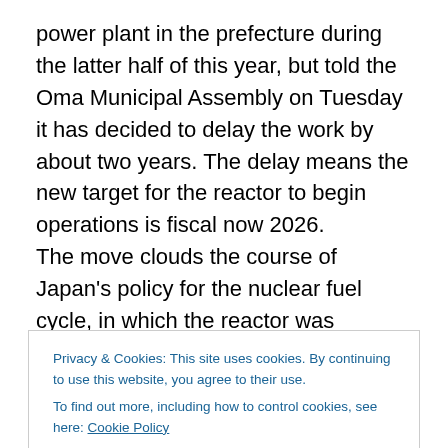power plant in the prefecture during the latter half of this year, but told the Oma Municipal Assembly on Tuesday it has decided to delay the work by about two years. The delay means the new target for the reactor to begin operations is fiscal now 2026. The move clouds the course of Japan's policy for the nuclear fuel cycle, in which the reactor was supposed to play a key role. Mixed oxide (MOX) fuel is produced by extracting plutonium from spent nuclear fuel and mixing it with uranium. Tokyo is also under international pressure to slash its stockpile of plutonium, which has the potential to
Privacy & Cookies: This site uses cookies. By continuing to use this website, you agree to their use. To find out more, including how to control cookies, see here: Cookie Policy
Hiroshige Seko said at a news conference.